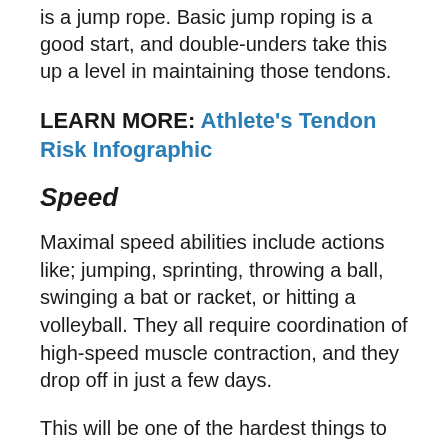is a jump rope. Basic jump roping is a good start, and double-unders take this up a level in maintaining those tendons.
LEARN MORE: Athlete's Tendon Risk Infographic
Speed
Maximal speed abilities include actions like; jumping, sprinting, throwing a ball, swinging a bat or racket, or hitting a volleyball. They all require coordination of high-speed muscle contraction, and they drop off in just a few days.
This will be one of the hardest things to